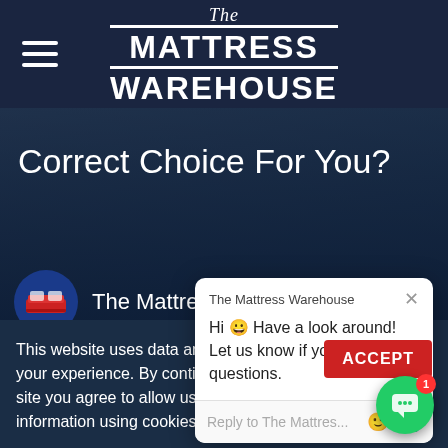The Mattress Warehouse
Correct Choice For You?
[Figure (logo): The Mattress Warehouse brand logo with blue circle icon showing a red bed]
The Mattress Warehouse
[Figure (screenshot): Chat popup from The Mattress Warehouse with message: Hi 😀 Have a look around! Let us know if you have any questions. Input field says Reply to The Mattres...]
This website uses data and personalise your experience. By continuing to use the site you agree to allow us to collect information using cookies
[Figure (other): Red ACCEPT button and green chat FAB button with badge showing 1]